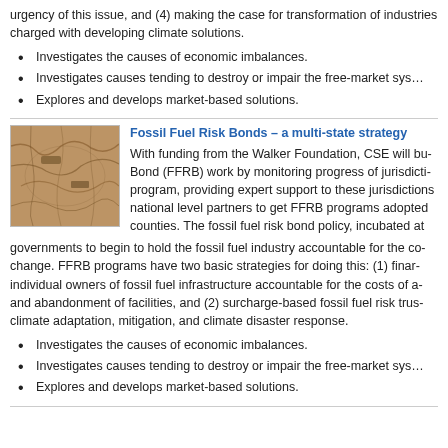urgency of this issue, and (4) making the case for transformation of industries charged with developing climate solutions.
Investigates the causes of economic imbalances.
Investigates causes tending to destroy or impair the free-market sys…
Explores and develops market-based solutions.
[Figure (photo): Aerial photograph of fossil fuel infrastructure showing cracked, dry earth and industrial patterns]
Fossil Fuel Risk Bonds – a multi-state strategy
With funding from the Walker Foundation, CSE will build Fossil Fuel Risk Bond (FFRB) work by monitoring progress of jurisdictions with an FFRB program, providing expert support to these jurisdictions, and working with national level partners to get FFRB programs adopted in additional states and counties. The fossil fuel risk bond policy, incubated at CSE, encourages governments to begin to hold the fossil fuel industry accountable for the costs of climate change. FFRB programs have two basic strategies for doing this: (1) financial accountability of individual owners of fossil fuel infrastructure accountable for the costs of abandonment and abandonment of facilities, and (2) surcharge-based fossil fuel risk trust funds for climate adaptation, mitigation, and climate disaster response.
Investigates the causes of economic imbalances.
Investigates causes tending to destroy or impair the free-market sys…
Explores and develops market-based solutions.